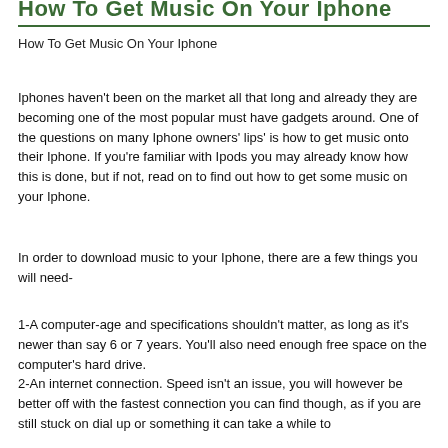How To Get Music On Your Iphone
How To Get Music On Your Iphone
Iphones haven't been on the market all that long and already they are becoming one of the most popular must have gadgets around. One of the questions on many Iphone owners' lips' is how to get music onto their Iphone. If you're familiar with Ipods you may already know how this is done, but if not, read on to find out how to get some music on your Iphone.
In order to download music to your Iphone, there are a few things you will need-
1-A computer-age and specifications shouldn't matter, as long as it's newer than say 6 or 7 years. You'll also need enough free space on the computer's hard drive.
2-An internet connection. Speed isn't an issue, you will however be better off with the fastest connection you can find though, as if you are still stuck on dial up or something it can take a while to